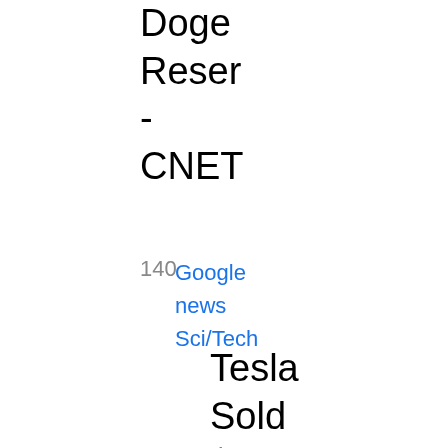Doge
Reser
-
CNET
140
Google
news
Sci/Tech
Tesla
Sold
$936M
of
Bitcoin
Kept
its
Doge
Reser
-
CNET